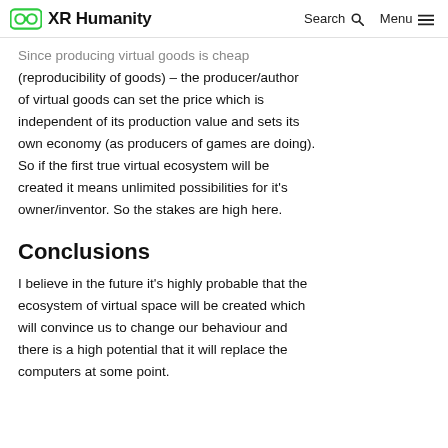XR Humanity   Search   Menu
Since producing virtual goods is cheap (reproducibility of goods) – the producer/author of virtual goods can set the price which is independent of its production value and sets its own economy (as producers of games are doing). So if the first true virtual ecosystem will be created it means unlimited possibilities for it's owner/inventor. So the stakes are high here.
Conclusions
I believe in the future it's highly probable that the ecosystem of virtual space will be created which will convince us to change our behaviour and there is a high potential that it will replace the computers at some point.